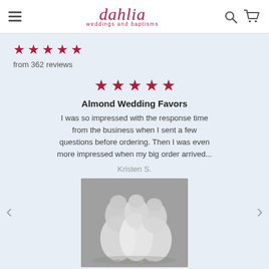dahlia weddings and baptisms
★★★★★ from 362 reviews
[Figure (photo): Five dark red/crimson stars rating display centered on the review card]
Almond Wedding Favors
I was so impressed with the response time from the business when I sent a few questions before ordering. Then I was even more impressed when my big order arrived...
Kristen S.
[Figure (photo): Grayscale photo of three white satin-trimmed organza wedding favor bags arranged on a gray surface]
Satin Trimmed Organza Wedding Favor | White